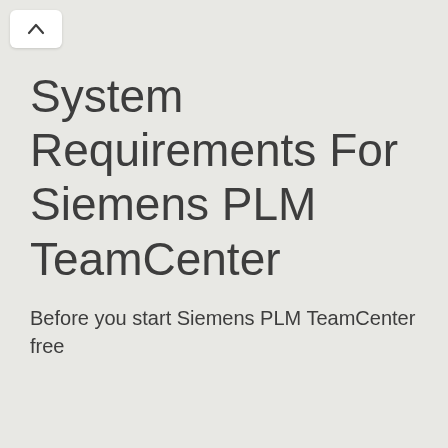[Figure (other): Navigation chevron/up-arrow button in a white rounded rectangle in the top-left corner]
System Requirements For Siemens PLM TeamCenter
Before you start Siemens PLM TeamCenter free